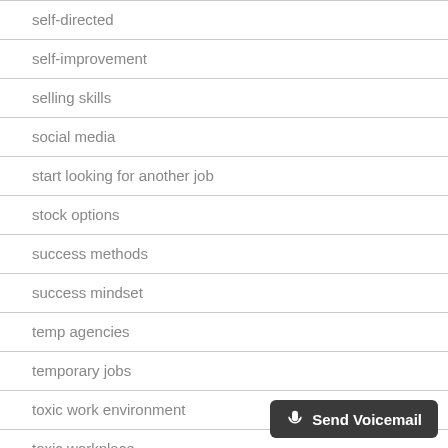self-directed
self-improvement
selling skills
social media
start looking for another job
stock options
success methods
success mindset
temp agencies
temporary jobs
toxic work environment
toxic workplace